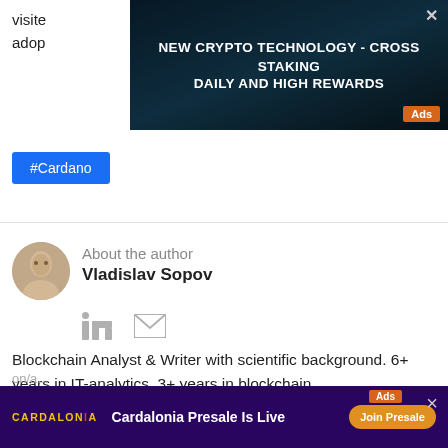visite
adop
[Figure (screenshot): Advertisement banner: NEW CRYPTO TECHNOLOGY - CROSS STAKING DAILY AND HIGH REWARDS with dark blue background and Ads label]
#Cardano
About the author
Vladislav Sopov
[Figure (photo): Author portrait photo of Vladislav Sopov]
[Figure (infographic): LinkedIn and email social media icons]
Blockchain Analyst & Writer with scientific background. 6+ years in IT-analytics, 3+ years in blockchain.
Worked in independent analysis as well as in start-ups (Swap.online, Monoreto, Attic Lab etc.)
[Figure (screenshot): Advertisement banner: Cardalonia Presale Is Live - Join Presale button, purple background]